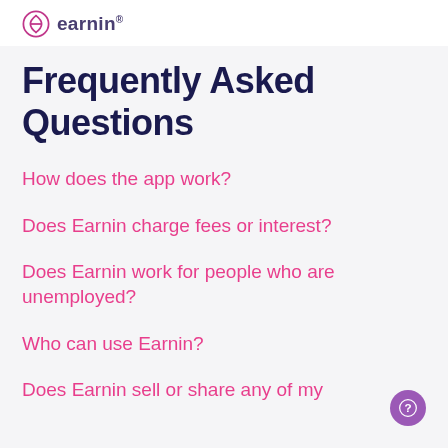earnin
Frequently Asked Questions
How does the app work?
Does Earnin charge fees or interest?
Does Earnin work for people who are unemployed?
Who can use Earnin?
Does Earnin sell or share any of my...